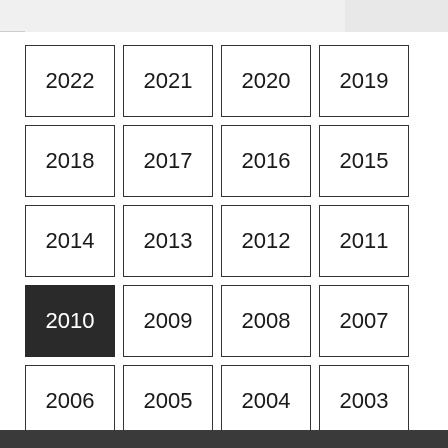| 2022 | 2021 | 2020 | 2019 |
| 2018 | 2017 | 2016 | 2015 |
| 2014 | 2013 | 2012 | 2011 |
| 2010 (selected) | 2009 | 2008 | 2007 |
| 2006 | 2005 | 2004 | 2003 |